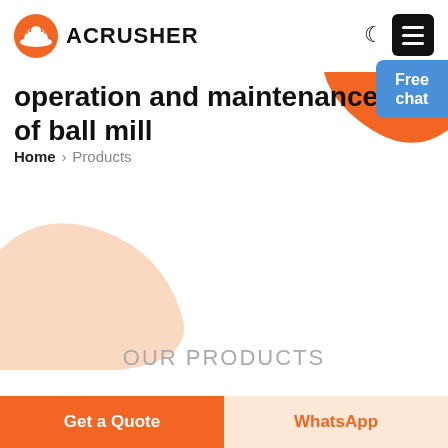[Figure (logo): Acrusher logo with orange hard hat icon and bold uppercase text ACRUSHER]
[Figure (illustration): Orange and peach organic blob shapes decorating the top-right and middle-left of the header area]
operation and maintenance of ball mill
Home > Products
[Figure (illustration): Blue rounded rectangle button with white text 'Free chat' and small customer service person illustration]
OUR PRODUCTS
Get a Quote
WhatsApp